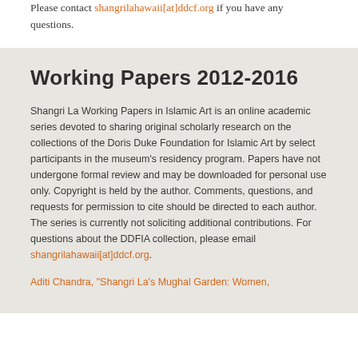Please contact shangrilahawaii[at]ddcf.org if you have any questions.
Working Papers 2012-2016
Shangri La Working Papers in Islamic Art is an online academic series devoted to sharing original scholarly research on the collections of the Doris Duke Foundation for Islamic Art by select participants in the museum's residency program. Papers have not undergone formal review and may be downloaded for personal use only. Copyright is held by the author. Comments, questions, and requests for permission to cite should be directed to each author. The series is currently not soliciting additional contributions. For questions about the DDFIA collection, please email shangrilahawaii[at]ddcf.org.
Aditi Chandra, "Shangri La's Mughal Garden: Women, ..."